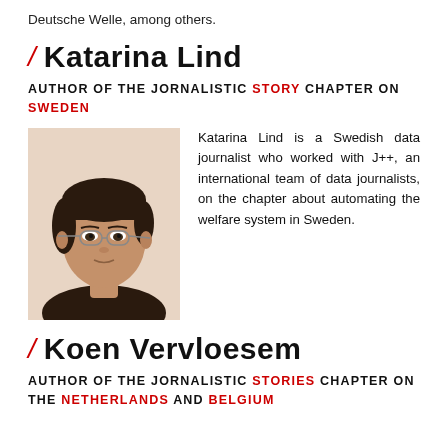Deutsche Welle, among others.
/ Katarina Lind
AUTHOR OF THE JORNALISTIC STORY CHAPTER ON SWEDEN
[Figure (photo): Black and white portrait photo of Katarina Lind, a woman with short dark hair and glasses wearing a dark top.]
Katarina Lind is a Swedish data journalist who worked with J++, an international team of data journalists, on the chapter about automating the welfare system in Sweden.
/ Koen Vervloesem
AUTHOR OF THE JORNALISTIC STORIES CHAPTER ON THE NETHERLANDS AND BELGIUM